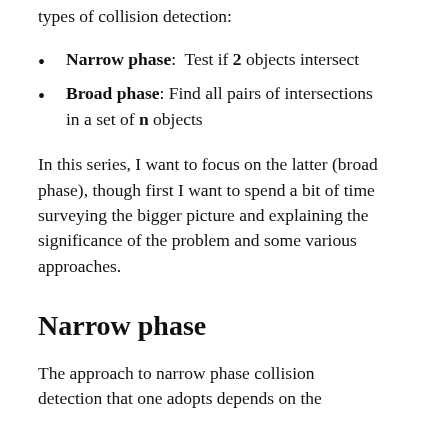types of collision detection:
Narrow phase:  Test if 2 objects intersect
Broad phase: Find all pairs of intersections in a set of n objects
In this series, I want to focus on the latter (broad phase), though first I want to spend a bit of time surveying the bigger picture and explaining the significance of the problem and some various approaches.
Narrow phase
The approach to narrow phase collision detection that one adopts depends on the